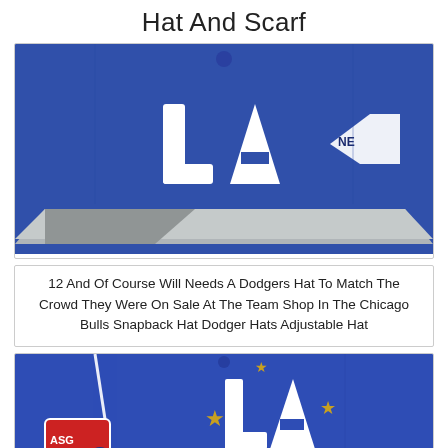Hat And Scarf
[Figure (photo): Blue LA Dodgers New Era snapback hat with grey brim, showing the white LA logo on the front and New Era logo on the side, photographed close-up against white background.]
12 And Of Course Will Needs A Dodgers Hat To Match The Crowd They Were On Sale At The Team Shop In The Chicago Bulls Snapback Hat Dodger Hats Adjustable Hat
[Figure (photo): Blue LA Dodgers New Era snapback hat with All-Star Game ASG patch and star decorations and the LA logo with gold stars, photographed close-up against white background.]